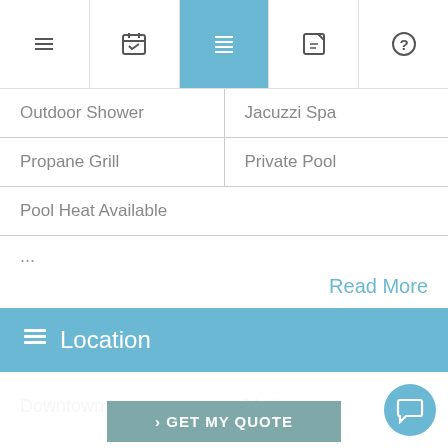[Figure (screenshot): Top navigation bar with five icons: hamburger menu, calendar, list (active/highlighted in blue), edit, and help]
Outdoor Shower
Jacuzzi Spa
Propane Grill
Private Pool
Pool Heat Available
...
Read More
Location
Downtown
Marina